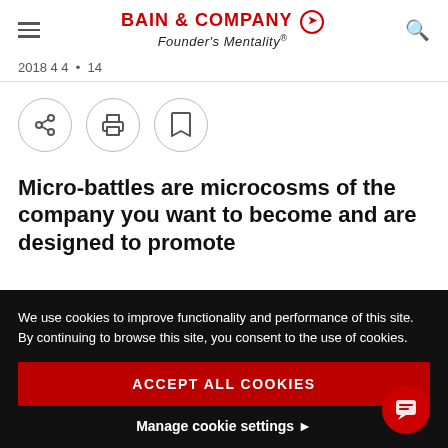BAIN & COMPANY Founder's Mentality®
2018 4 4  •  14
[Figure (infographic): Three circular icon buttons: share, print, and bookmark]
Micro-battles are microcosms of the company you want to become and are designed to promote
We use cookies to improve functionality and performance of this site. By continuing to browse this site, you consent to the use of cookies.
ACCEPT ALL COOKIES
Manage cookie settings ▶